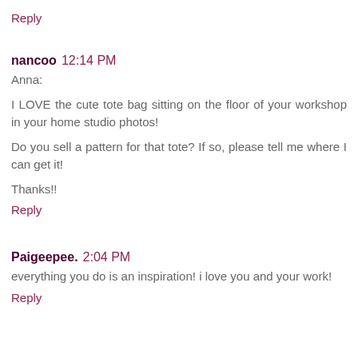Reply
nancoo 12:14 PM
Anna:
I LOVE the cute tote bag sitting on the floor of your workshop in your home studio photos!
Do you sell a pattern for that tote? If so, please tell me where I can get it!
Thanks!!
Reply
Paigeepee. 2:04 PM
everything you do is an inspiration! i love you and your work!
Reply